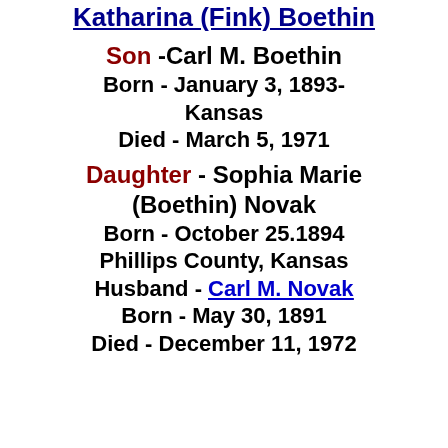Katharina (Fink) Boethin
Son -Carl M. Boethin
Born - January 3, 1893-
Kansas
Died - March 5, 1971
Daughter - Sophia Marie (Boethin) Novak
Born - October 25.1894
Phillips County, Kansas
Husband - Carl M. Novak
Born - May 30, 1891
Died - December 11, 1972